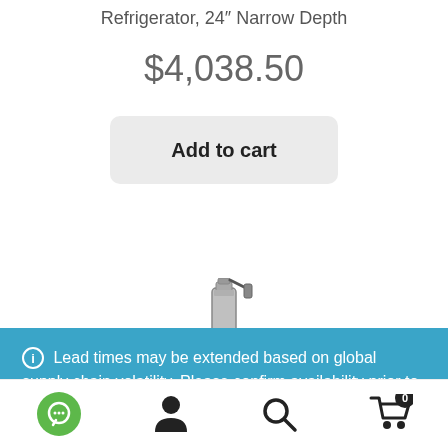Refrigerator, 24" Narrow Depth
$4,038.50
Add to cart
[Figure (photo): Product image of a refrigerator/keg tap appliance]
Lead times may be extended based on global supply chain volatility. Please confirm availability prior to placing your order.
Dismiss
Navigation bar with chat, account, search, and cart icons